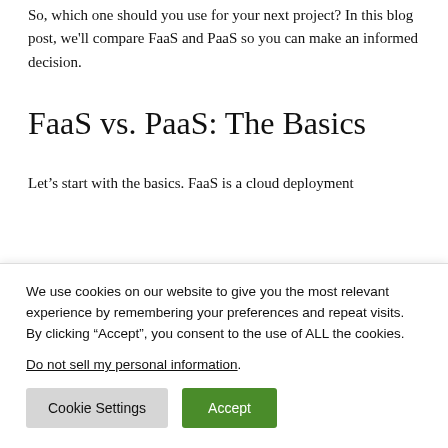So, which one should you use for your next project? In this blog post, we'll compare FaaS and PaaS so you can make an informed decision.
FaaS vs. PaaS: The Basics
Let's start with the basics. FaaS is a cloud deployment
We use cookies on our website to give you the most relevant experience by remembering your preferences and repeat visits. By clicking “Accept”, you consent to the use of ALL the cookies.
Do not sell my personal information.